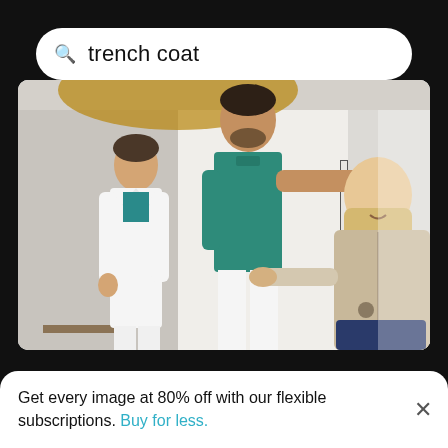trench coat
[Figure (photo): A medical professional in green scrubs shaking hands with a seated blonde woman wearing a beige trench coat. A second person in a white lab coat stands in the background. Hospital corridor setting.]
Young couple standing in front of woman
[Figure (photo): Partial thumbnail of image on left side, light/beige background]
[Figure (photo): Partial thumbnail of image on right side, light blue background with dark shape]
Get every image at 80% off with our flexible subscriptions. Buy for less.